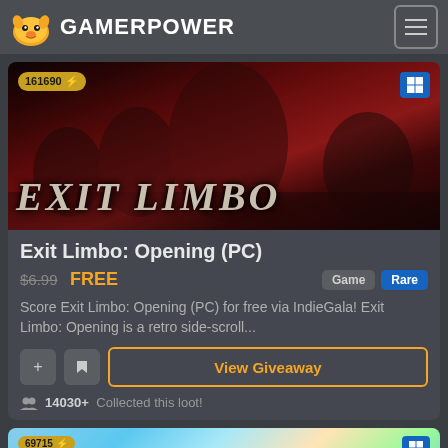GAMERPOWER
[Figure (screenshot): Exit Limbo game banner with dark red background showing monsters and the text EXIT LIMBO. Badge showing 161690 and lightning bolt, Windows icon top right.]
Exit Limbo: Opening (PC)
$6.99 FREE | Game | Rare
Score Exit Limbo: Opening (PC) for free via IndieGala! Exit Limbo: Opening is a retro side-scroll...
View Giveaway
14030+ Collected this loot!
[Figure (screenshot): Partial view of a second game card showing a colorful banner. Badge showing 69715 and lightning bolt, Windows icon top right. Partial text visible: Leisure Suit Larry.]